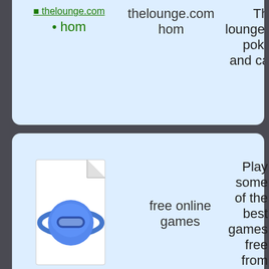[Figure (screenshot): Partial card at top showing green link text and poker/casino description text]
[Figure (illustration): Internet Explorer document icon - blue globe with orbit ring over a document page]
free online games
Play some of the best games free from
[Figure (screenshot): Screenshot of www.casinosportal.com website showing casino game listings with orange and purple rows]
free money at usa ca
Welcome to players welco online casinos reliable
[Figure (screenshot): Screenshot of legal mp3 music download site with orange download bar and green section]
Legal free music
Free legal mu people who w on over 100